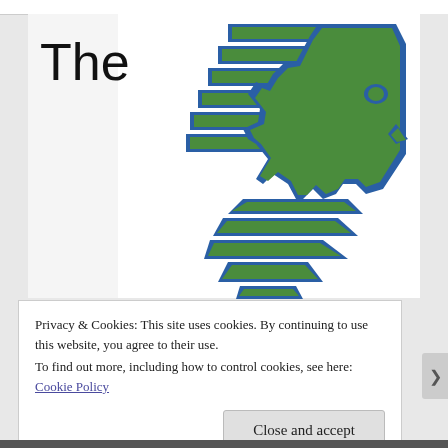The
[Figure (logo): Stylized Native American chief head logo in green and blue geometric angular design, facing right, with feathered headdress rendered as angular chevron shapes.]
Privacy & Cookies: This site uses cookies. By continuing to use this website, you agree to their use.
To find out more, including how to control cookies, see here: Cookie Policy
Close and accept